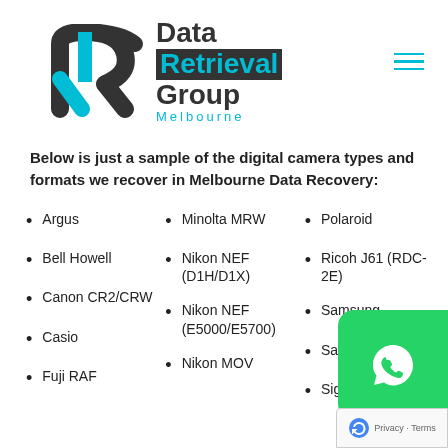[Figure (logo): Data Retrieval Group Melbourne logo with stylized R arrow icon in dark grey and cyan]
Below is just a sample of the digital camera types and formats we recover in Melbourne Data Recovery:
Argus
Bell Howell
Canon CR2/CRW
Casio
Fuji RAF
Minolta MRW
Nikon NEF (D1H/D1X)
Nikon NEF (E5000/E5700)
Nikon MOV
Polaroid
Ricoh J61 (RDC-2E)
Samsung
Sanyo
Sigma-